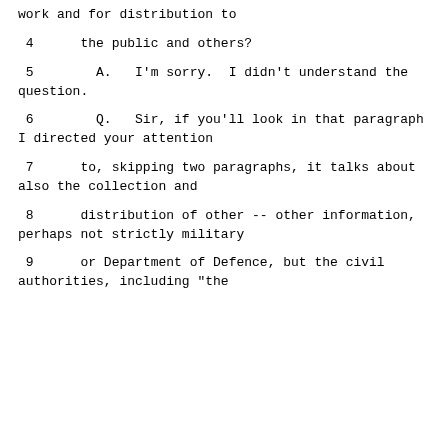work and for distribution to
4      the public and others?
5        A.   I'm sorry.  I didn't understand the question.
6        Q.   Sir, if you'll look in that paragraph I directed your attention
7      to, skipping two paragraphs, it talks about also the collection and
8      distribution of other -- other information, perhaps not strictly military
9      or Department of Defence, but the civil authorities, including "the